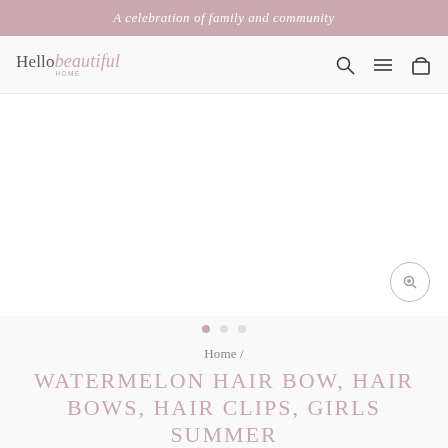A celebration of family and community
[Figure (logo): Hello Beautiful Home logo — 'Hello' in serif, 'beautiful' in italic script pink, 'HOME' in small caps below]
[Figure (screenshot): Product image area — white/blank with a circular zoom magnifier button in bottom right corner, and three pagination dots below (first dot filled pink, two gray)]
Home /
WATERMELON HAIR BOW, HAIR BOWS, HAIR CLIPS, GIRLS SUMMER